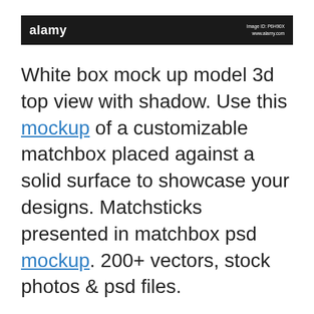alamy | Image ID: P6H90X www.alamy.com
White box mock up model 3d top view with shadow. Use this mockup of a customizable matchbox placed against a solid surface to showcase your designs. Matchsticks presented in matchbox psd mockup. 200+ vectors, stock photos & psd files.